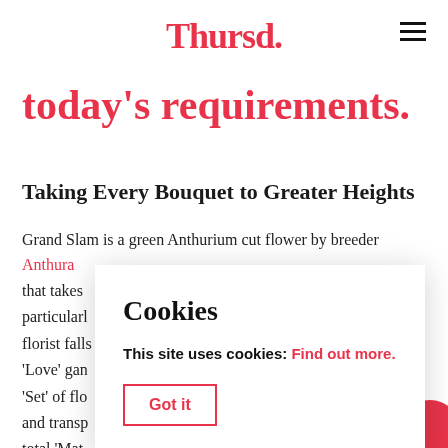Thursd.
today's requirements.
Taking Every Bouquet to Greater Heights
Grand Slam is a green Anthurium cut flower by breeder Anthura that takes [text continues behind overlay]. particularly florist falls [text continues]. 'Love' ga [text continues]. 'Set' of flo [text continues] life and transp [text continues] a total 'Mat [text continues]
Cookies
This site uses cookies: Find out more.
Got it